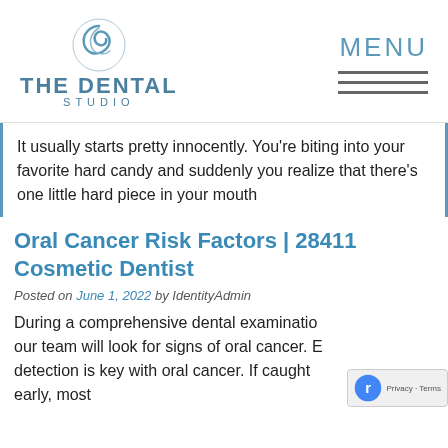[Figure (logo): The Dental Studio logo with circular wave icon and text]
MENU
It usually starts pretty innocently. You're biting into your favorite hard candy and suddenly you realize that there's one little hard piece in your mouth
Oral Cancer Risk Factors | 28411 Cosmetic Dentist
Posted on June 1, 2022 by IdentityAdmin
During a comprehensive dental examination, our team will look for signs of oral cancer. Early detection is key with oral cancer. If caught early, most